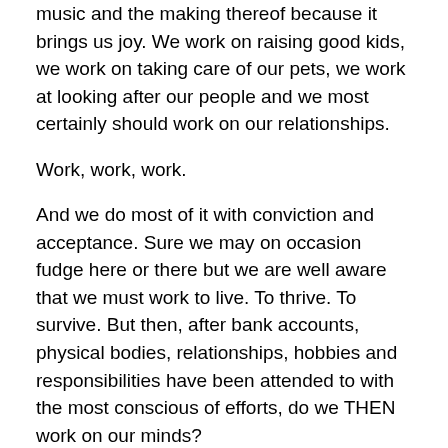music and the making thereof because it brings us joy. We work on raising good kids, we work on taking care of our pets, we work at looking after our people and we most certainly should work on our relationships.
Work, work, work.
And we do most of it with conviction and acceptance. Sure we may on occasion fudge here or there but we are well aware that we must work to live. To thrive. To survive. But then, after bank accounts, physical bodies, relationships, hobbies and responsibilities have been attended to with the most conscious of efforts, do we THEN work on our minds?
I'm not talking about reading or learning or exploring new things or even teaching. I am talking about working on our own minds. Our personal sanctuaries of chaos, bedlam,